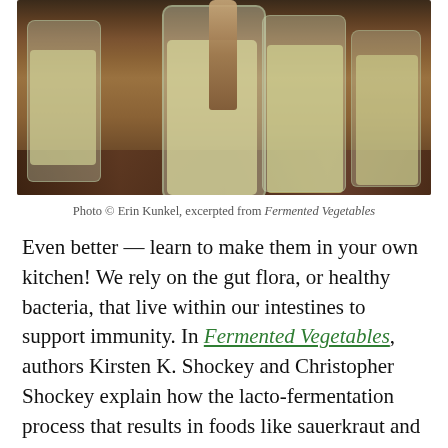[Figure (photo): Hands packing fermented vegetables (sauerkraut) into glass mason jars on a wooden table. Multiple jars filled with yellowish-green fermented cabbage are visible. A wooden tamper/dowel is being used to pack the contents.]
Photo © Erin Kunkel, excerpted from Fermented Vegetables
Even better — learn to make them in your own kitchen! We rely on the gut flora, or healthy bacteria, that live within our intestines to support immunity. In Fermented Vegetables, authors Kirsten K. Shockey and Christopher Shockey explain how the lacto-fermentation process that results in foods like sauerkraut and kimchi promotes the growth of good bacteria in our guts.